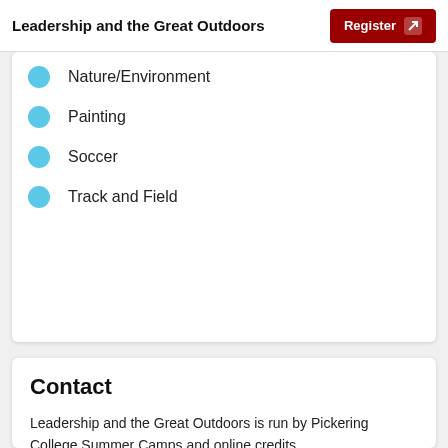Leadership and the Great Outdoors | Register
Nature/Environment
Painting
Soccer
Track and Field
Contact
Leadership and the Great Outdoors is run by Pickering College Summer Camps and online credits.
Visit website
Send email